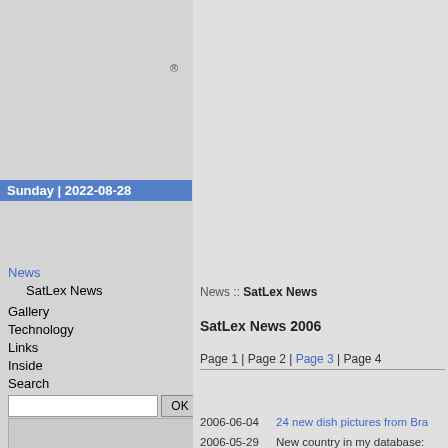®
Sunday | 2022-08-28
News
SatLex News
Gallery
Technology
Links
Inside
Search
Language: [en]
News :: SatLex News
SatLex News 2006
Page 1 | Page 2 | Page 3 | Page 4
2006-06-04 — 24 new dish pictures from Bra...
2006-05-29 — New country in my database:
2006-05-26 — The WaveFrontier calculator i... I am looking for sponsors f...
2006-05-24 — The WaveFrontier calculator h... (probably still this week)!
2006-05-09 — I'm back online!!! Finally after 4 days off! Sorry Let's start over! :-)
2006-04-23 — Even though my website mov...
2006-04-20 — The transfer of my webspace
2006-03-15 — EIRP Values for C band
2006-03-08 — Satellite launches for the yea...
2006-03-02 — 6,458 new cities from Austria... Hence, Austrian, Swiss and...